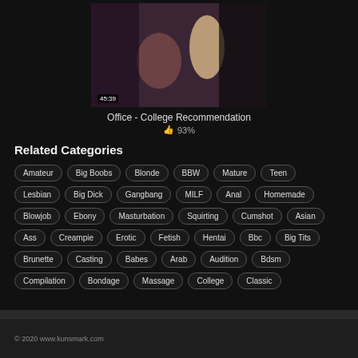[Figure (screenshot): Video thumbnail showing two people, timestamp 45:39]
Office - College Recommendation
👍 93%
Related Categories
Amateur
Big Boobs
Blonde
BBW
Mature
Teen
Lesbian
Big Dick
Gangbang
MILF
Anal
Homemade
Blowjob
Ebony
Masturbation
Squirting
Cumshot
Asian
Ass
Creampie
Erotic
Fetish
Hentai
Bbc
Big Tits
Brunette
Casting
Babes
Arab
Audition
Bdsm
Compilation
Bondage
Massage
College
Classic
© 2020 www.kunsmark.com